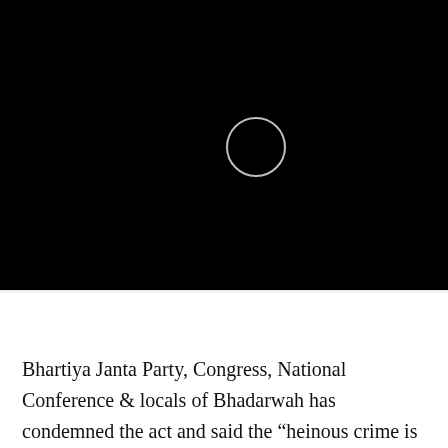[Figure (screenshot): Black video player background with a circular loading/play icon outline in white and a small cyan triangle at the top center, indicating a loading or paused video state.]
Bhartiya Janta Party, Congress, National Conference & locals of Bhadarwah has condemned the act and said the “heinous crime is aimed at vitiating the otherwise peaceful atmosphere and communal harmony in the district”.
Even in Jammu city various social, political and religious organisations have condemned the incident and has